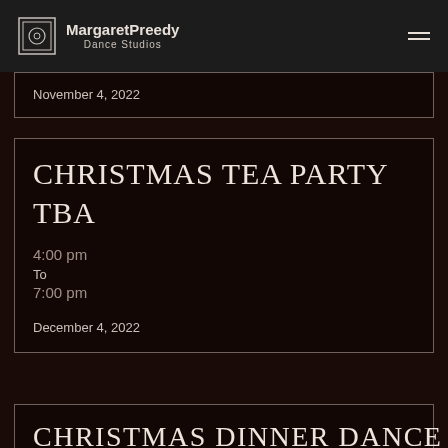MargaretPreedy Dance Studios
November 4, 2022
CHRISTMAS TEA PARTY TBA
4:00 pm
To
7:00 pm
December 4, 2022
CHRISTMAS DINNER DANCE